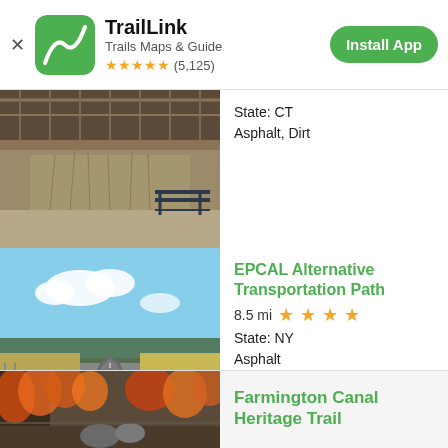TrailLink - Trails Maps & Guide - ★★★★★ (5,125) - Install App
[Figure (photo): Outdoor trail photo showing a wooden bridge structure over water with tall grass and reeds, and a bench in the foreground]
State: CT
Asphalt, Dirt
[Figure (photo): Paved trail path stretching into the distance with open fields on both sides, blue sky with clouds]
EPCAL Alternative Transportation Path
8.5 mi ★★★★
State: NY
Asphalt
[Figure (photo): Autumn forest trail with colorful foliage]
Farmington Canal Heritage Trail